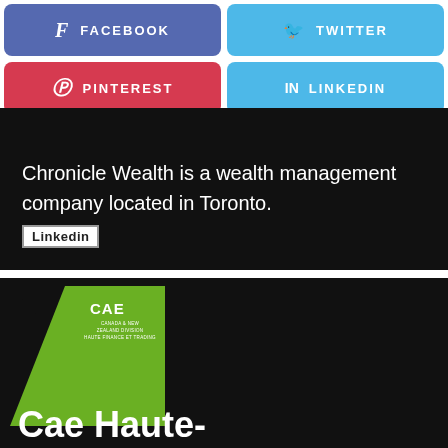[Figure (screenshot): Facebook social share button - blue/purple rounded rectangle with f icon and FACEBOOK text]
[Figure (screenshot): Twitter social share button - light blue rounded rectangle with bird icon and TWITTER text]
[Figure (screenshot): Pinterest social share button - red rounded rectangle with P icon and PINTEREST text]
[Figure (screenshot): LinkedIn social share button - light blue rounded rectangle with in icon and LINKEDIN text]
Linkedin
Chronicle Wealth is a wealth management company located in Toronto.
[Figure (logo): CAE logo on black background - green shape with CAE text and small subtitle text]
Cae Haute-